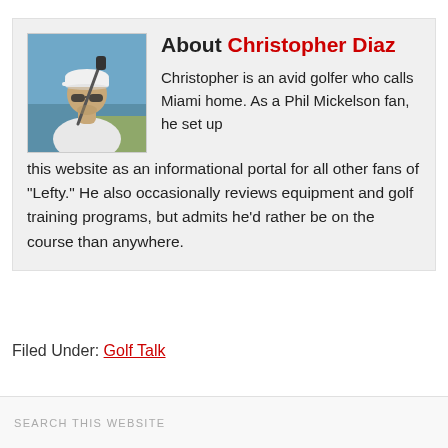[Figure (photo): Photo of Christopher Diaz, a man in a white polo shirt and white cap, holding a golf club over his shoulder, outdoors with water and sky in the background.]
About Christopher Diaz
Christopher is an avid golfer who calls Miami home. As a Phil Mickelson fan, he set up this website as an informational portal for all other fans of "Lefty." He also occasionally reviews equipment and golf training programs, but admits he'd rather be on the course than anywhere.
Filed Under: Golf Talk
SEARCH THIS WEBSITE